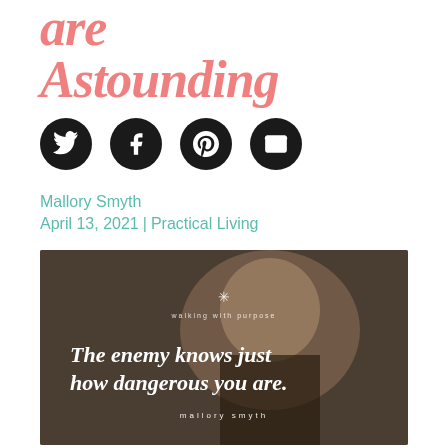are Astounding
[Figure (other): Social media share icons: Twitter, Facebook, Pinterest, Email (black circles with white icons)]
Mallory Smyth
April 13, 2021 | Practical Living
[Figure (photo): Photo of a woman praying with eyes closed in a dark shirt, crowd in background. Text overlay reads: 'walking with purpose' (small), 'The enemy knows just how dangerous you are.' (large italic white), 'mallory smyth' (small spaced)]